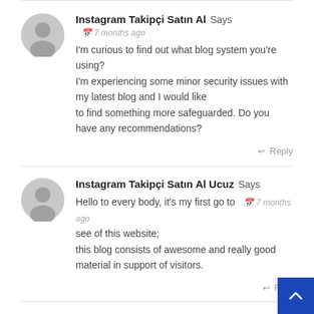Instagram Takipçi Satın Al Says 7 months ago
I'm curious to find out what blog system you're using?
I'm experiencing some minor security issues with my latest blog and I would like to find something more safeguarded. Do you have any recommendations?
Reply
Instagram Takipçi Satın Al Ucuz Says 7 months ago
Hello to every body, it's my first go to see of this website;
this blog consists of awesome and really good material in support of visitors.
Reply